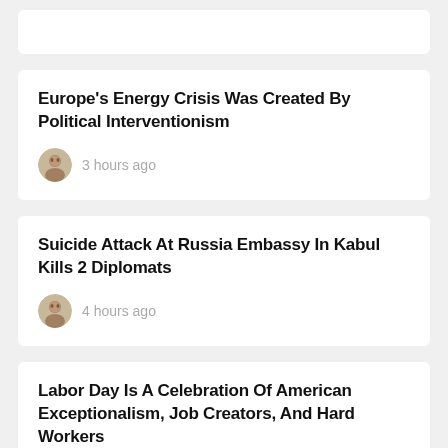Europe's Energy Crisis Was Created By Political Interventionism
3 hours ago
Suicide Attack At Russia Embassy In Kabul Kills 2 Diplomats
4 hours ago
Labor Day Is A Celebration Of American Exceptionalism, Job Creators, And Hard Workers
5 hours ago